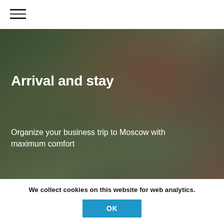[Figure (screenshot): Hamburger menu icon with three horizontal lines in the top-left corner of a white header bar]
[Figure (photo): Dark blurred background image with olive/brown tones representing an indoor or outdoor scene, used as a hero banner background]
Arrival and stay
Organize your business trip to Moscow with maximum comfort
We collect cookies on this website for web analytics.
OK